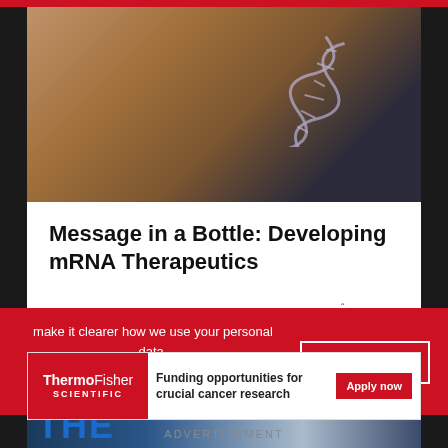[Figure (photo): Close-up of DNA double helix illustration with warm bokeh background in orange/brown tones]
Message in a Bottle: Developing mRNA Therapeutics
Research Products Blog
[Figure (logo): Mirus logo with stylized M and red underline]
[Figure (photo): Second article image showing 'THE' text in blue, partial view of a dark automotive or science scene]
make it clearer how we use your personal data.
Please read our Cookie Policy to learn how we use cookies to provide you
I UNDERSTAND
[Figure (logo): Thermo Fisher Scientific logo in white on red background]
Funding opportunities for crucial cancer research
Apply now
ADVERTISEMENT